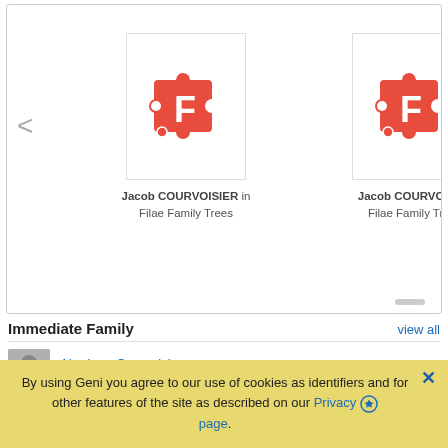[Figure (screenshot): Two Filae Family Trees thumbnail cards showing the Filae logo (red puzzle-piece F icon) for Jacob COURVOISIER, with a left chevron navigation arrow.]
Jacob COURVOISIER in Filae Family Trees
Jacob COURVOISIE Filae Family Tree
Immediate Family
view all
Abraham Courvoisier
father
Marie Madeleine Courvoisier
mother
By using Geni you agree to our use of cookies as identifiers and for other features of the site as described on our Privacy page.